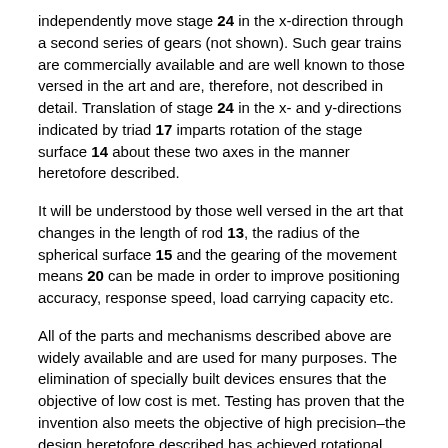independently move stage 24 in the x-direction through a second series of gears (not shown). Such gear trains are commercially available and are well known to those versed in the art and are, therefore, not described in detail. Translation of stage 24 in the x- and y-directions indicated by triad 17 imparts rotation of the stage surface 14 about these two axes in the manner heretofore described.
It will be understood by those well versed in the art that changes in the length of rod 13, the radius of the spherical surface 15 and the gearing of the movement means 20 can be made in order to improve positioning accuracy, response speed, load carrying capacity etc.
All of the parts and mechanisms described above are widely available and are used for many purposes. The elimination of specially built devices ensures that the objective of low cost is met. Testing has proven that the invention also meets the objective of high precision–the design heretofore described has achieved rotational resolution of 0.0144 arc-sec with a repeatability of 3.6e-5 arc-sec and a load capacity of 11.3 kgf.
While the invention has been described in connection with